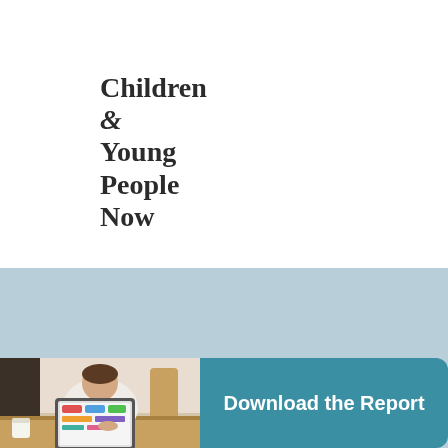[Figure (logo): Children & Young People Now logo — bold serif text stacked on multiple lines]
[Figure (photo): Person sitting at a table looking at a tablet device displaying colorful content]
Download the Report